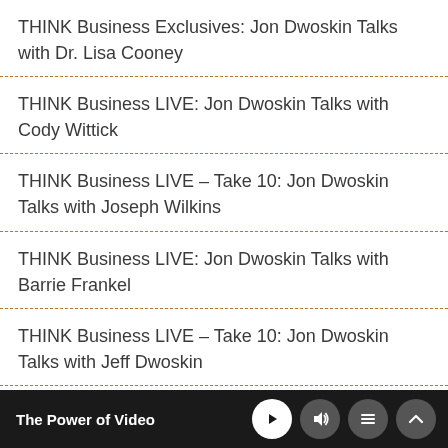THINK Business Exclusives: Jon Dwoskin Talks with Dr. Lisa Cooney
THINK Business LIVE: Jon Dwoskin Talks with Cody Wittick
THINK Business LIVE – Take 10: Jon Dwoskin Talks with Joseph Wilkins
THINK Business LIVE: Jon Dwoskin Talks with Barrie Frankel
THINK Business LIVE – Take 10: Jon Dwoskin Talks with Jeff Dwoskin
The Power of Video